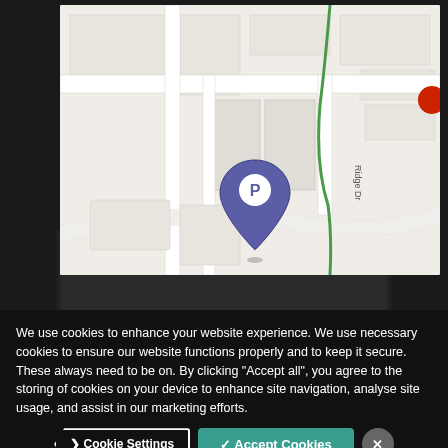[Figure (screenshot): A webpage screenshot showing a map with a parking location marker (blue P pin) and a red dot on the right side. The map shows Ridge Dr street label and road layouts on a light background. The map is embedded in a webpage with dark/night background photo showing trees and a road.]
We use cookies to enhance your website experience. We use necessary cookies to ensure our website functions properly and to keep it secure. These always need to be on. By clicking “Accept all”, you agree to the storing of cookies on your device to enhance site navigation, analyse site usage, and assist in our marketing efforts.